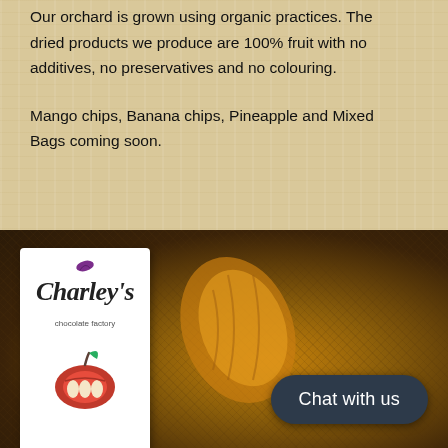Our orchard is grown using organic practices. The dried products we produce are 100% fruit with no additives, no preservatives and no colouring.
Mango chips, Banana chips, Pineapple and Mixed Bags coming soon.
[Figure (photo): Photo of a Charley's Chocolate Factory chocolate bar box lying among cocoa pods, cocoa beans, and burlap sacks. A dark navy 'Chat with us' button appears in the lower right.]